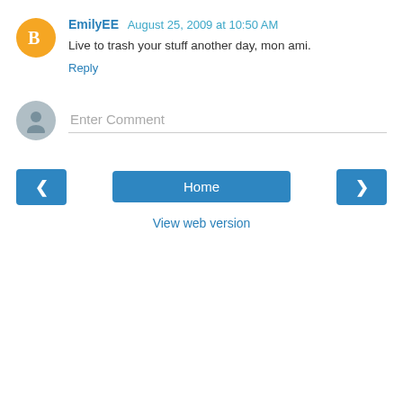EmilyEE  August 25, 2009 at 10:50 AM
Live to trash your stuff another day, mon ami.
Reply
[Figure (other): Enter Comment input field with generic user avatar]
[Figure (other): Navigation bar with left arrow, Home button, and right arrow buttons, and View web version link]